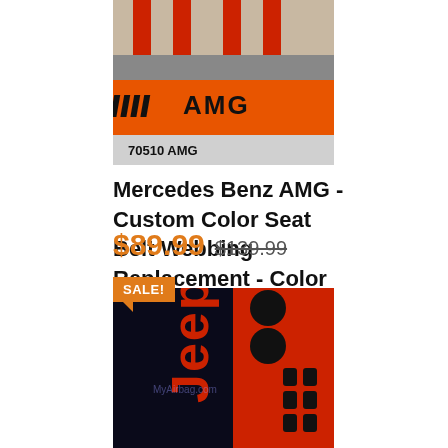[Figure (photo): AMG branded seat belt webbing product photo showing red seat belts with AMG logo and label reading '70510 AMG']
Mercedes Benz AMG - Custom Color Seat Belt Webbing Replacement - Color Code 70510
$89.99  $139.99
[Figure (photo): Jeep branded black and red seat belt webbing with Jeep logo and grill pattern design, with SALE badge overlay]